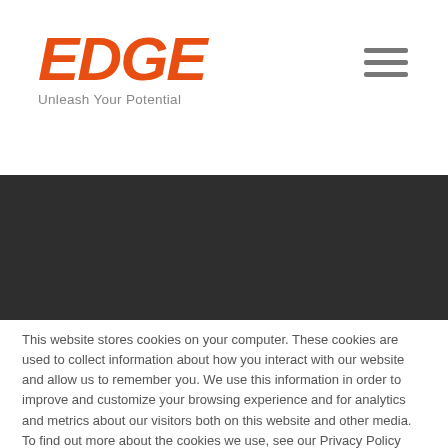[Figure (logo): EDGE logo in orange italic bold text with tagline 'Unleash Your Potential' below]
[Figure (illustration): Hamburger menu icon (three horizontal bars) in gray]
[Figure (illustration): Dark gray/charcoal horizontal band across the page]
This website stores cookies on your computer. These cookies are used to collect information about how you interact with our website and allow us to remember you. We use this information in order to improve and customize your browsing experience and for analytics and metrics about our visitors both on this website and other media. To find out more about the cookies we use, see our Privacy Policy
Accept